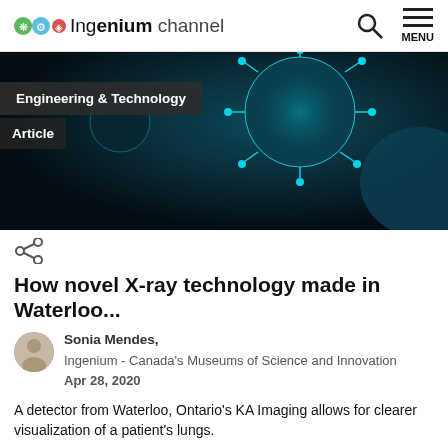Ingenium channel | Search | MENU
[Figure (photo): Dark teal/cyan microscope image of virus particles on dark background, with overlay badges showing 'Engineering & Technology' and 'Article']
How novel X-ray technology made in Waterloo...
Sonia Mendes, Ingenium - Canada's Museums of Science and Innovation Apr 28, 2020
A detector from Waterloo, Ontario's KA Imaging allows for clearer visualization of a patient's lungs.
[Figure (photo): Partial bottom image showing green/yellow hedge or shrub against dark background, with a circular timer/progress icon in the bottom-right corner]